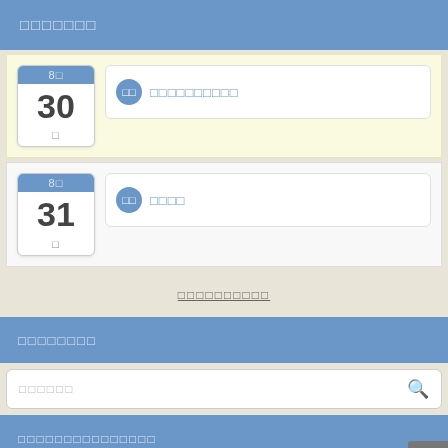□□□□□□□
8□ 30 □
□□□□□□□□□□
8□ 31 □
□□□□
□□□□□□□□□□
□□□□□□□□
□□□□□□
□□□□□□□□□□□□□□□